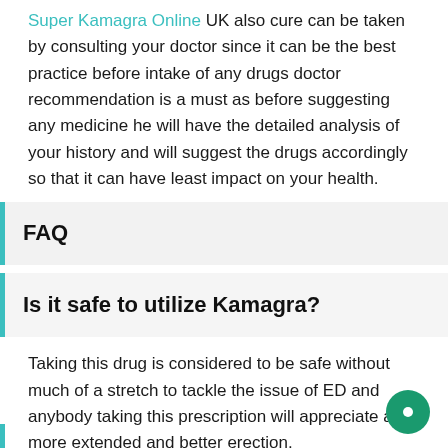Super Kamagra Online UK also cure can be taken by consulting your doctor since it can be the best practice before intake of any drugs doctor recommendation is a must as before suggesting any medicine he will have the detailed analysis of your history and will suggest the drugs accordingly so that it can have least impact on your health.
FAQ
Is it safe to utilize Kamagra?
Taking this drug is considered to be safe without much of a stretch to tackle the issue of ED and anybody taking this prescription will appreciate a more extended and better erection.